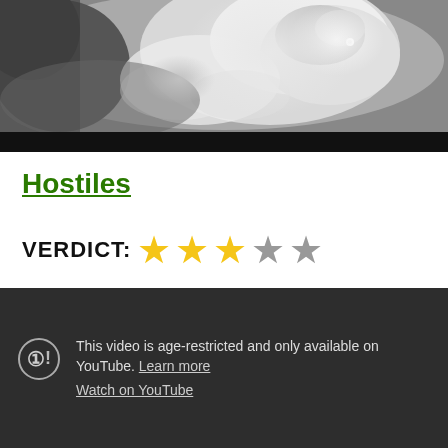[Figure (photo): Black and white photo of a person with fur or feathers, cropped at upper portion of page. Bottom portion has a black bar.]
Hostiles
VERDICT: ★★★☆☆ (3 out of 5 stars)
[Figure (screenshot): YouTube age-restricted video player showing dark background with warning icon and message: 'This video is age-restricted and only available on YouTube. Learn more' and 'Watch on YouTube']